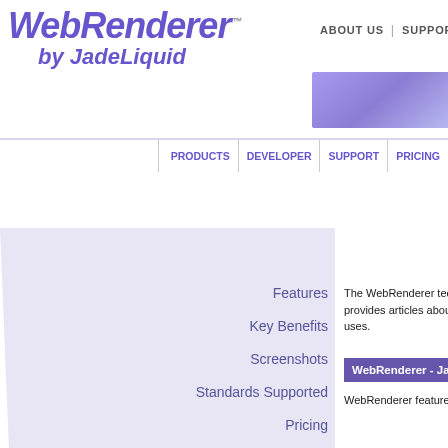[Figure (logo): WebRenderer by JadeLiquid logo in purple italic bold font with TM superscript]
ABOUT US | SUPPORT | BLOG
PRODUCTS | DEVELOPER | SUPPORT | PRICING
Features
Key Benefits
Screenshots
Standards Supported
Pricing
Download Now
The WebRenderer technical articles section provides articles about WebRenderer and its uses.
WebRenderer - Java Develo
WebRenderer featured in the Java D
API Documentation
Developers Guide